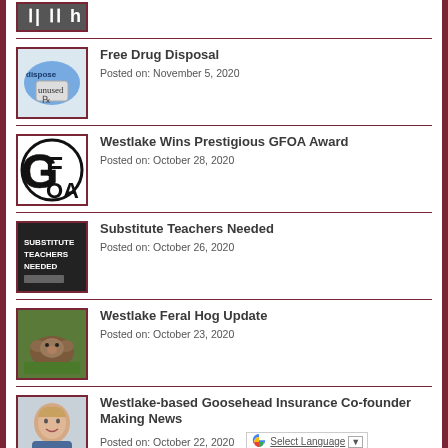[Figure (photo): Partial image at top, cropped]
Free Drug Disposal
Posted on: November 5, 2020
Westlake Wins Prestigious GFOA Award
Posted on: October 28, 2020
Substitute Teachers Needed
Posted on: October 26, 2020
Westlake Feral Hog Update
Posted on: October 23, 2020
Westlake-based Goosehead Insurance Co-founder Making News
Posted on: October 22, 2020